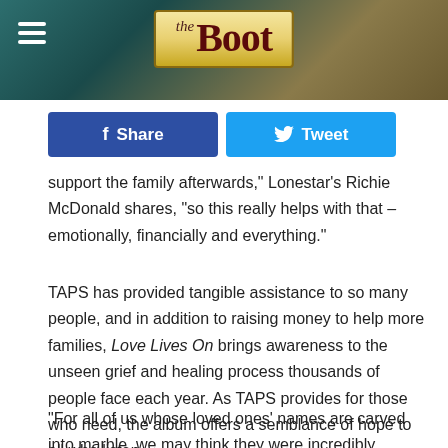the Boot
Share  Tweet
support the family afterwards," Lonestar's Richie McDonald shares, "so this really helps with that – emotionally, financially and everything."
TAPS has provided tangible assistance to so many people, and in addition to raising money to help more families, Love Lives On brings awareness to the unseen grief and healing process thousands of people face each year. As TAPS provides for those who need, the album offers a semblance of hope to all who listen.
“For all of us whose loved ones’ names are carved into marble, we may think they were incredibly irrepressibly full of